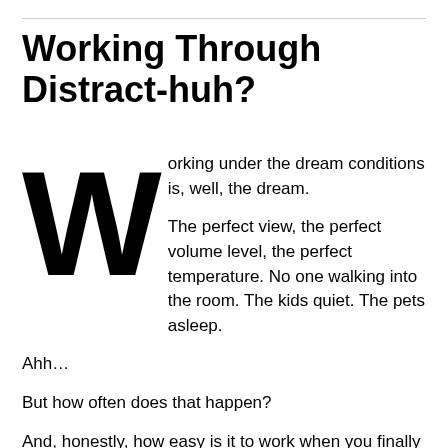Working Through Distract-huh?
Working under the dream conditions is, well, the dream.

The perfect view, the perfect volume level, the perfect temperature. No one walking into the room. The kids quiet. The pets asleep.

Ahh…

But how often does that happen?

And, honestly, how easy is it to work when you finally get there? Are you able to actually focus, or do you tend to find yourself getting off track? Picking the right music is